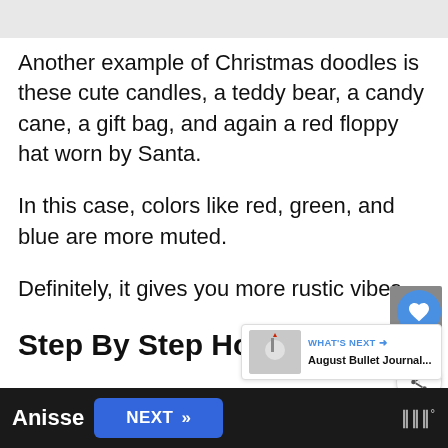Another example of Christmas doodles is these cute candles, a teddy bear, a candy cane, a gift bag, and again a red floppy hat worn by Santa.
In this case, colors like red, green, and blue are more muted.
Definitely, it gives you more rustic vibes.
Step By Step Holiday Gnom
Anisse   NEXT >>   III°